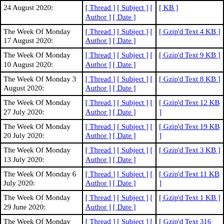| Week | Sort options | Download |
| --- | --- | --- |
| 24 August 2020: | [ Thread ] [ Subject ] [ Author ] [ Date ] | [ KB ] |
| The Week Of Monday 17 August 2020: | [ Thread ] [ Subject ] [ Author ] [ Date ] | [ Gzip'd Text 4 KB ] |
| The Week Of Monday 10 August 2020: | [ Thread ] [ Subject ] [ Author ] [ Date ] | [ Gzip'd Text 9 KB ] |
| The Week Of Monday 3 August 2020: | [ Thread ] [ Subject ] [ Author ] [ Date ] | [ Gzip'd Text 8 KB ] |
| The Week Of Monday 27 July 2020: | [ Thread ] [ Subject ] [ Author ] [ Date ] | [ Gzip'd Text 12 KB ] |
| The Week Of Monday 20 July 2020: | [ Thread ] [ Subject ] [ Author ] [ Date ] | [ Gzip'd Text 19 KB ] |
| The Week Of Monday 13 July 2020: | [ Thread ] [ Subject ] [ Author ] [ Date ] | [ Gzip'd Text 3 KB ] |
| The Week Of Monday 6 July 2020: | [ Thread ] [ Subject ] [ Author ] [ Date ] | [ Gzip'd Text 11 KB ] |
| The Week Of Monday 29 June 2020: | [ Thread ] [ Subject ] [ Author ] [ Date ] | [ Gzip'd Text 1 KB ] |
| The Week Of Monday 22 June 2020: | [ Thread ] [ Subject ] [ Author ] [ Date ] | [ Gzip'd Text 316 bytes ] |
| The Week Of Monday 15 June 2020: | [ Thread ] [ Subject ] [ Author ] [ Date ] | [ Gzip'd Text 2 KB ] |
| The Week Of Mon... | [ Thread ] [ Subject... | [ Gzip'd Text S... |